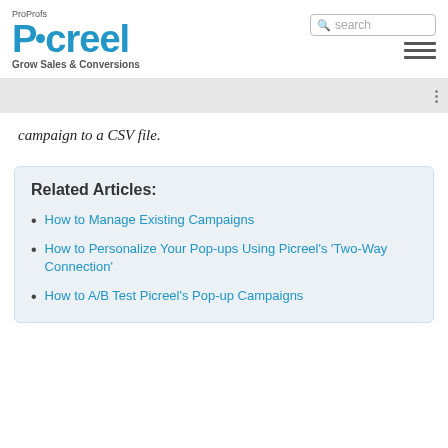ProProfs Picreel — Grow Sales & Conversions
campaign to a CSV file.
Related Articles:
How to Manage Existing Campaigns
How to Personalize Your Pop-ups Using Picreel's 'Two-Way Connection'
How to A/B Test Picreel's Pop-up Campaigns